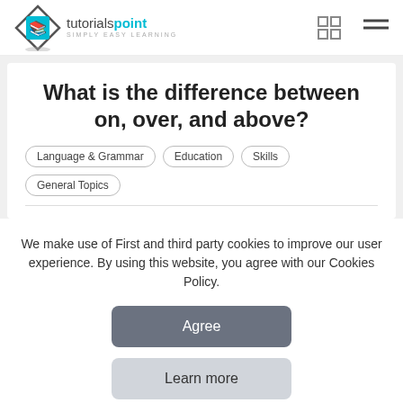[Figure (logo): Tutorialspoint logo with diamond shape and 'simply easy learning' tagline, plus grid icon and hamburger menu icon]
What is the difference between on, over, and above?
Language & Grammar
Education
Skills
General Topics
We make use of First and third party cookies to improve our user experience. By using this website, you agree with our Cookies Policy.
Agree
Learn more